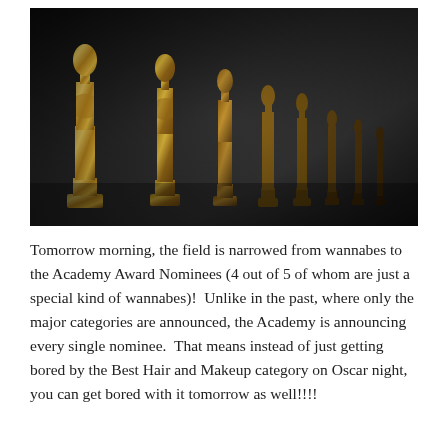[Figure (photo): A row of golden Oscar statuettes (Academy Award trophies) lined up in a row against a dark background, with the foreground statues in sharp focus showing the distinctive gold finish and the iconic pose.]
Tomorrow morning, the field is narrowed from wannabes to the Academy Award Nominees (4 out of 5 of whom are just a special kind of wannabes)!  Unlike in the past, where only the major categories are announced, the Academy is announcing every single nominee.  That means instead of just getting bored by the Best Hair and Makeup category on Oscar night, you can get bored with it tomorrow as well!!!!